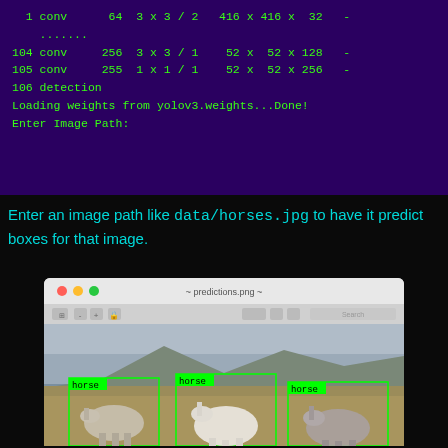[Figure (screenshot): Terminal output showing YOLOv3 layer configuration and loading message]
Enter an image path like data/horses.jpg to have it predict boxes for that image.
[Figure (screenshot): macOS Preview window showing predictions.png with three horses detected by YOLOv3, each labeled 'horse' with green bounding boxes]